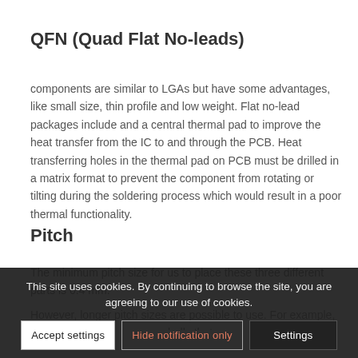QFN (Quad Flat No-leads)
components are similar to LGAs but have some advantages, like small size, thin profile and low weight. Flat no-lead packages include and a central thermal pad to improve the heat transfer from the IC to and through the PCB. Heat transferring holes in the thermal pad on PCB must be drilled in a matrix format to prevent the component from rotating or tilting during the soldering process which would result in a poor thermal functionality.
Pitch
The minimum pitch size for us to place these three different parts is 0.4 mm.
However, longer pitch sizes are possible to use. For example, a BGA having nine or more balls that are connected will...
This site uses cookies. By continuing to browse the site, you are agreeing to our use of cookies.